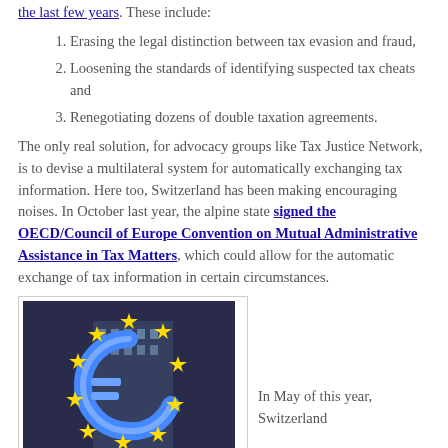the last few years. These include:
Erasing the legal distinction between tax evasion and fraud,
Loosening the standards of identifying suspected tax cheats and
Renegotiating dozens of double taxation agreements.
The only real solution, for advocacy groups like Tax Justice Network, is to devise a multilateral system for automatically exchanging tax information. Here too, Switzerland has been making encouraging noises. In October last year, the alpine state signed the OECD/Council of Europe Convention on Mutual Administrative Assistance in Tax Matters, which could allow for the automatic exchange of tax information in certain circumstances.
[Figure (photo): Photo of the illuminated blue Euro currency symbol sculpture with yellow stars, in front of a building at night.]
In May of this year, Switzerland